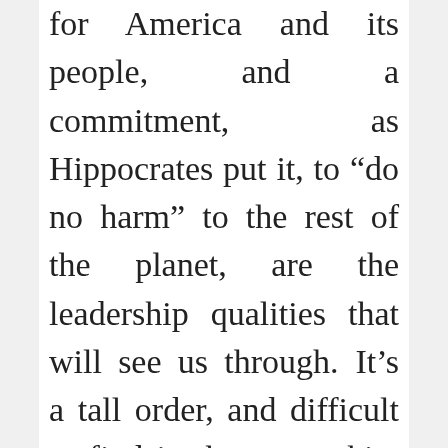for America and its people, and a commitment, as Hippocrates put it, to “do no harm” to the rest of the planet, are the leadership qualities that will see us through. It’s a tall order, and difficult to find in the same skin, but our chief executive needs to be statesman, warrior, visionary, diplomat, strategist, charismatic leader